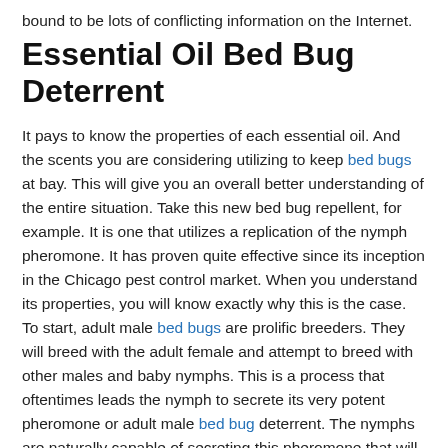bound to be lots of conflicting information on the Internet.
Essential Oil Bed Bug Deterrent
It pays to know the properties of each essential oil. And the scents you are considering utilizing to keep bed bugs at bay. This will give you an overall better understanding of the entire situation. Take this new bed bug repellent, for example. It is one that utilizes a replication of the nymph pheromone. It has proven quite effective since its inception in the Chicago pest control market. When you understand its properties, you will know exactly why this is the case. To start, adult male bed bugs are prolific breeders. They will breed with the adult female and attempt to breed with other males and baby nymphs. This is a process that oftentimes leads the nymph to secrete its very potent pheromone or adult male bed bug deterrent. The nymphs are naturally capable of secreting this pheromone that will